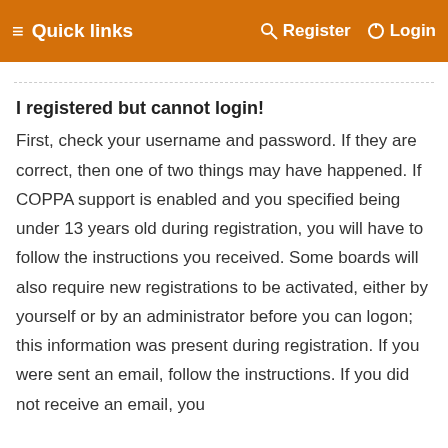≡ Quick links    Register  Login
I registered but cannot login!
First, check your username and password. If they are correct, then one of two things may have happened. If COPPA support is enabled and you specified being under 13 years old during registration, you will have to follow the instructions you received. Some boards will also require new registrations to be activated, either by yourself or by an administrator before you can logon; this information was present during registration. If you were sent an email, follow the instructions. If you did not receive an email, you